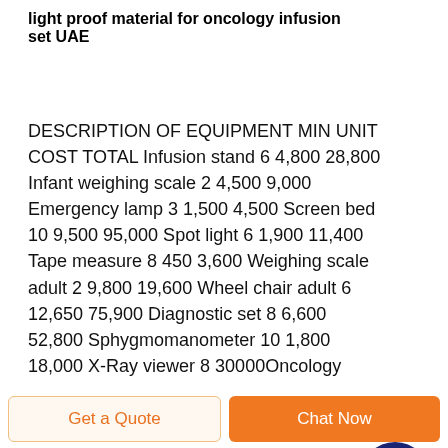light proof material for oncology infusion set UAE
DESCRIPTION OF EQUIPMENT MIN UNIT COST TOTAL Infusion stand 6 4,800 28,800 Infant weighing scale 2 4,500 9,000 Emergency lamp 3 1,500 4,500 Screen bed 10 9,500 95,000 Spot light 6 1,900 11,400 Tape measure 8 450 3,600 Weighing scale adult 2 9,800 19,600 Wheel chair adult 6 12,650 75,900 Diagnostic set 8 6,600 52,800 Sphygmomanometer 10 1,800 18,000 X-Ray viewer 8 30000Oncology
[Figure (other): Dark blue circular scroll-to-top button with white upward arrow]
Get a Quote
Chat Now